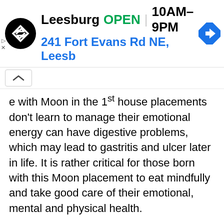[Figure (screenshot): Advertisement banner: circular black logo with double-arrow symbol, text 'Leesburg OPEN 10AM–9PM 241 Fort Evans Rd NE, Leesb' with a blue navigation arrow diamond icon on the right]
e with Moon in the 1st house placements don't learn to manage their emotional energy can have digestive problems, which may lead to gastritis and ulcer later in life. It is rather critical for those born with this Moon placement to eat mindfully and take good care of their emotional, mental and physical health.
Women with their Moon in the 1st house should be aware that their reproductive system may be particularly sensitive and in need of extra care and attention.
The Moon in the 1st  house can also mean certain difficulties with the mother, difficult